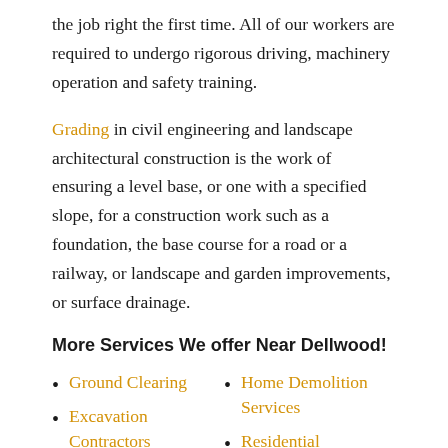the job right the first time. All of our workers are required to undergo rigorous driving, machinery operation and safety training.
Grading in civil engineering and landscape architectural construction is the work of ensuring a level base, or one with a specified slope, for a construction work such as a foundation, the base course for a road or a railway, or landscape and garden improvements, or surface drainage.
More Services We offer Near Dellwood!
Ground Clearing
Excavation Contractors
Helical Piles
Home Demolition Services
Residential Demolition